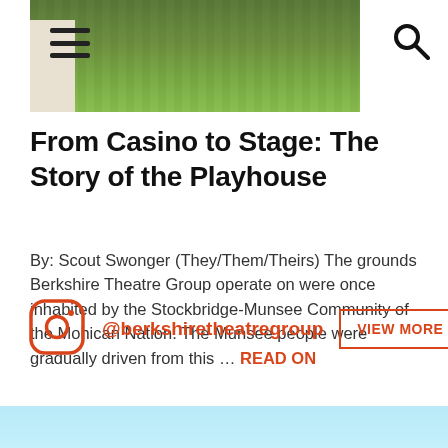[Figure (photo): Outdoor photo of green grass lawn with partial view of a building at left edge, serving as page header image. Hamburger menu icon and search icon overlaid on header area.]
From Casino to Stage: The Story of the Playhouse
By: Scout Swonger (They/Them/Theirs) The grounds Berkshire Theatre Group operate on were once inhabited by the Stockbridge-Munsee Community of the Mohican Nation. The Munsee people were gradually driven from this ... READ ON
@berkshiretheatregroup
VIEW MORE